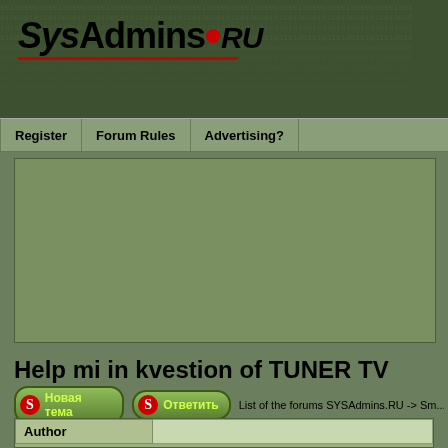[Figure (screenshot): SysAdmins.RU website logo with red dot and italic/bold text on dark green matrix background]
Register | Forum Rules | Advertising?
[Figure (other): Advertisement banner area - empty green box]
Help mi in kvestion of TUNER TV
Новая тема  Ответить  List of the forums SYSAdmins.RU -> Sm...
| Author |  |
| --- | --- |